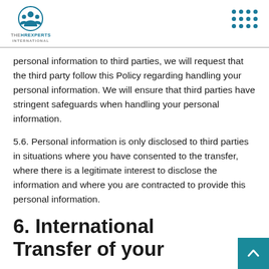THE HR EXPERTS INTERNATIONAL
personal information to third parties, we will request that the third party follow this Policy regarding handling your personal information. We will ensure that third parties have stringent safeguards when handling your personal information.
5.6. Personal information is only disclosed to third parties in situations where you have consented to the transfer, where there is a legitimate interest to disclose the information and where you are contracted to provide this personal information.
6. International Transfer of your